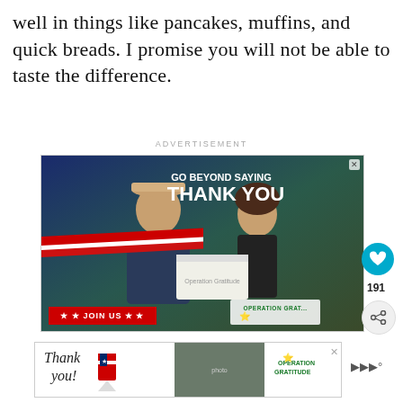well in things like pancakes, muffins, and quick breads. I promise you will not be able to taste the difference.
ADVERTISEMENT
[Figure (photo): Advertisement for Operation Gratitude showing a military servicemember receiving a box from a civilian woman, with text 'Go Beyond Saying Thank You' and 'Join Us']
[Figure (photo): Second Operation Gratitude banner advertisement at the bottom of the page]